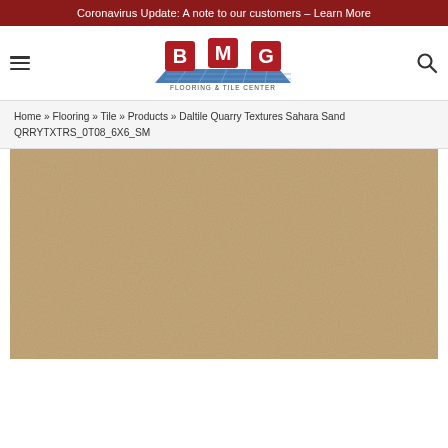Coronavirus Update: A note to our customers – Learn More
[Figure (logo): BMG Flooring & Tile Center logo with red cube letters B, M, G above a blue tile grid graphic and text FLOORING & TILE CENTER]
Home » Flooring » Tile » Products » Daltile Quarry Textures Sahara Sand QRRYTXTRS_0T08_6X6_SM
[Figure (photo): Close-up photo of Daltile Quarry Textures Sahara Sand tile – a flat, sandy beige/tan matte surface texture]